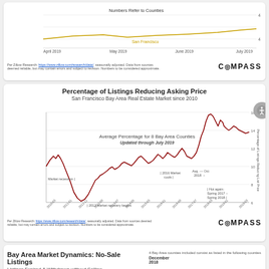[Figure (line-chart): Partial line chart showing San Francisco data with April 2019 through July 2019 x-axis labels, golden/yellow line]
Per Zillow Research: https://www.zillow.com/research/data/, seasonally adjusted. Data from sources deemed reliable, but may contain errors and subject to revision. Numbers to be considered approximate.
Percentage of Listings Reducing Asking Price
San Francisco Bay Area Real Estate Market since 2010
[Figure (line-chart): Line chart showing percentage of listings reducing asking price for 8 Bay Area Counties from 2010 to 2019. Dark red line. Y-axis ranges from 4 to 16. Annotations: Market recession, 2012 Market recovery begins, 2016 Market cools, Aug-Oct 2018, Hot again: Spring 2017 - Spring 2018. Updated through July 2019.]
Per Zillow Research: https://www.zillow.com/research/data/, seasonally adjusted. Data from sources deemed reliable, but may contain errors and subject to revision. Numbers to be considered approximate.
Bay Area Market Dynamics: No-Sale Listings
Listings Expired & Withdrawn without Selling
Listings typically expire or withdrawn without selling due to being perceived as overpriced, and/or to avoid the slower markets of mid-summer and mid-